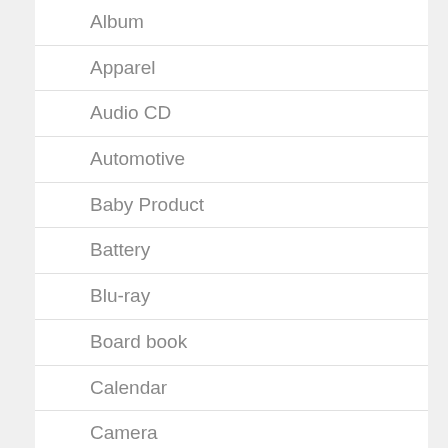Album
Apparel
Audio CD
Automotive
Baby Product
Battery
Blu-ray
Board book
Calendar
Camera